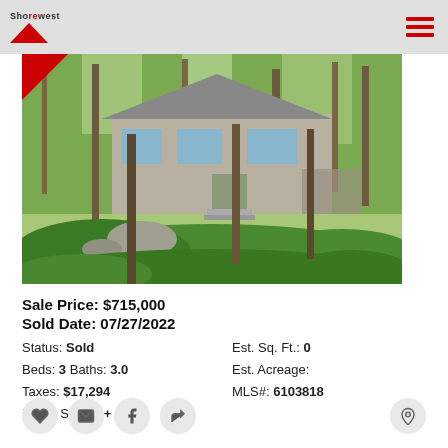Shorewest
[Figure (photo): Exterior photo of a multi-story wood-sided house surrounded by trees and lush green ferns and vegetation, with a red triangle badge in the upper-left corner]
Sale Price: $715,000
Sold Date: 07/27/2022
Status: Sold   Est. Sq. Ft.: 0
Beds: 3 Baths: 3.0   Est. Acreage:
Taxes: $17,294   MLS#: 6103818
Home Style: 2+ Story